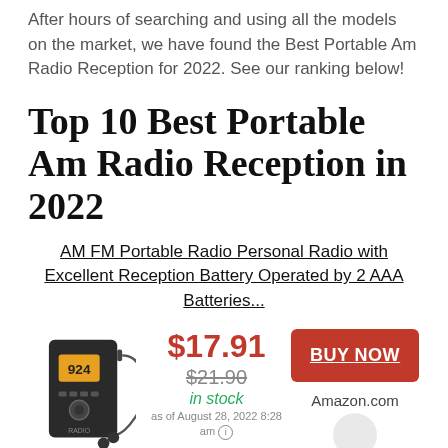After hours of searching and using all the models on the market, we have found the Best Portable Am Radio Reception for 2022. See our ranking below!
Top 10 Best Portable Am Radio Reception in 2022
AM FM Portable Radio Personal Radio with Excellent Reception Battery Operated by 2 AAA Batteries...
[Figure (photo): Photo of a small portable AM/FM radio device with headphones]
$17.91
$21.90
in stock
as of August 28, 2022 8:28 am
BUY NOW
Amazon.com